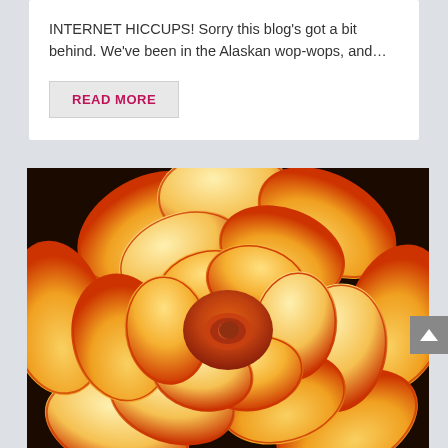INTERNET HICCUPS! Sorry this blog's got a bit behind. We've been in the Alaskan wop-wops, and...
READ MORE
[Figure (photo): Close-up photograph of a bright orange and yellow flower (begonia or similar), with red-edged petals arranged in a rose-like layered pattern. The image fills most of the lower portion of the page.]